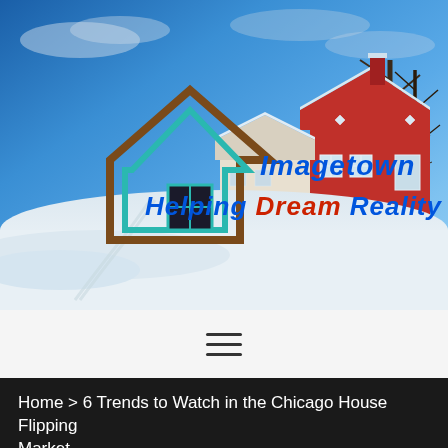[Figure (photo): Winter landscape with red house covered in snow and bare trees, with 'Imagetown Helping Dream Reality' real estate logo overlay including a house icon in teal/brown outline]
[Figure (other): Hamburger menu icon with three horizontal lines]
Home > 6 Trends to Watch in the Chicago House Flipping Market